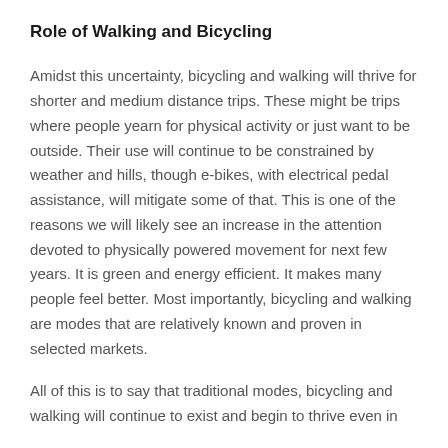Role of Walking and Bicycling
Amidst this uncertainty, bicycling and walking will thrive for shorter and medium distance trips. These might be trips where people yearn for physical activity or just want to be outside. Their use will continue to be constrained by weather and hills, though e-bikes, with electrical pedal assistance, will mitigate some of that. This is one of the reasons we will likely see an increase in the attention devoted to physically powered movement for next few years. It is green and energy efficient. It makes many people feel better. Most importantly, bicycling and walking are modes that are relatively known and proven in selected markets.
All of this is to say that traditional modes, bicycling and walking will continue to exist and begin to thrive even in